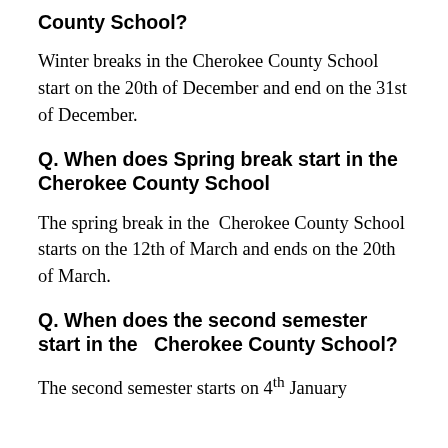County School?
Winter breaks in the Cherokee County School start on the 20th of December and end on the 31st of December.
Q. When does Spring break start in the Cherokee County School
The spring break in the  Cherokee County School starts on the 12th of March and ends on the 20th of March.
Q. When does the second semester start in the  Cherokee County School?
The second semester starts on 4th January